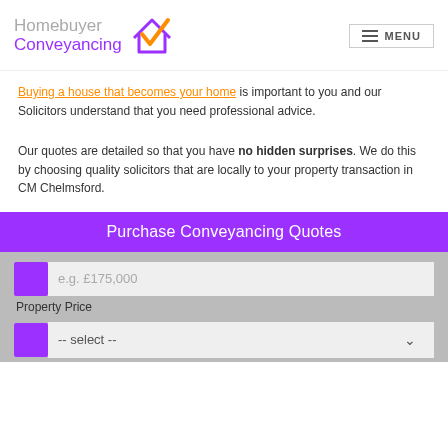[Figure (logo): Homebuyer Conveyancing logo with house and checkmark icon in orange and purple]
Buying a house that becomes your home is important to you and our Solicitors understand that you need professional advice.
Our quotes are detailed so that you have no hidden surprises. We do this by choosing quality solicitors that are locally to your property transaction in CM Chelmsford.
Purchase Conveyancing Quotes
e.g. £175,000
Property Price
-- select --